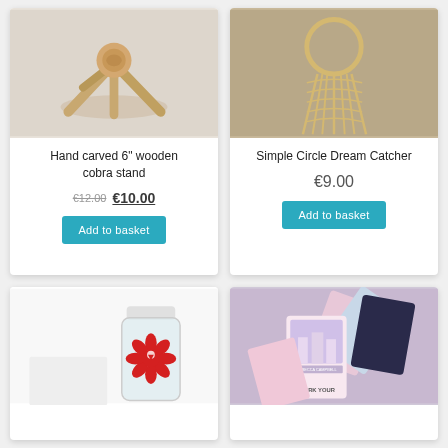[Figure (photo): Hand carved wooden cobra stand product photo on white background]
Hand carved 6" wooden cobra stand
€12.00  €10.00
Add to basket
[Figure (photo): Simple circle dream catcher woven macrame wall hanging on grey background]
Simple Circle Dream Catcher
€9.00
Add to basket
[Figure (photo): Glass jar or bottle with red lotus/yoga symbol on white background]
[Figure (photo): Rebecca Campbell oracle/tarot cards spread showing Work Your Light deck]